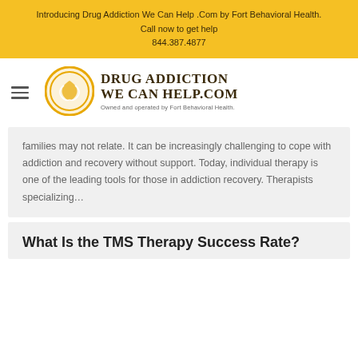Introducing Drug Addiction We Can Help .Com by Fort Behavioral Health.
Call now to get help
844.387.4877
[Figure (logo): Drug Addiction We Can Help .com logo with circular golden emblem and text. Owned and operated by Fort Behavioral Health.]
families may not relate. It can be increasingly challenging to cope with addiction and recovery without support. Today, individual therapy is one of the leading tools for those in addiction recovery. Therapists specializing…
What Is the TMS Therapy Success Rate?